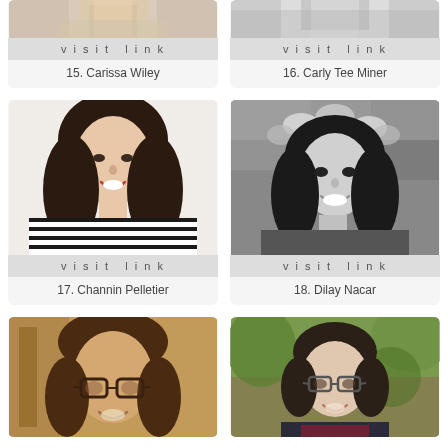[Figure (photo): Partial top-cropped photo of person (Carissa Wiley)]
visit link
15. Carissa Wiley
[Figure (photo): Partial top-cropped photo of person (Carly Tee Miner)]
visit link
16. Carly Tee Miner
[Figure (photo): Full photo of woman with long dark wavy hair in striped shirt (Channin Pelletier)]
visit link
17. Channin Pelletier
[Figure (photo): Black and white photo of woman with flower crown smiling (Dilay Nacar)]
visit link
18. Dilay Nacar
[Figure (photo): Sepia-toned photo of person with glasses (partially cropped)]
[Figure (photo): Color photo of woman with short dark hair and glasses outdoors (partially cropped)]